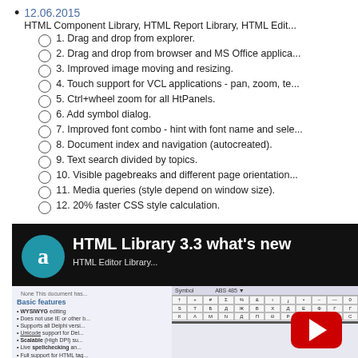12.06.2015
HTML Component Library, HTML Report Library, HTML Edit...
1. Drag and drop from explorer.
2. Drag and drop from browser and MS Office applica...
3. Improved image moving and resizing.
4. Touch support for VCL applications - pan, zoom, te...
5. Ctrl+wheel zoom for all HtPanels.
6. Add symbol dialog.
7. Improved font combo - hint with font name and sele...
8. Document index and navigation (autocreated).
9. Text search divided by topics.
10. Visible pagebreaks and different page orientation...
11. Media queries (style depend on window size).
12. 20% faster CSS style calculation.
[Figure (screenshot): YouTube video thumbnail showing 'HTML Library 3.3 what's new' with a teal circle containing letter 'a', a screenshot of HTML Editor Library interface with symbol table, and a YouTube play button in the bottom right corner.]